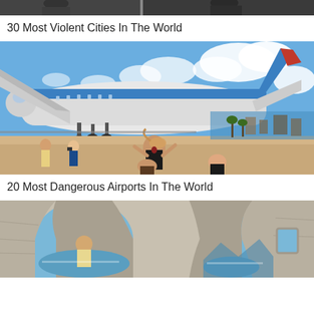[Figure (photo): Partial photo at top of page, cropped — appears to show people, partially visible at top edge]
30 Most Violent Cities In The World
[Figure (photo): Photo of people on a beach with a large commercial airplane flying very low overhead, blue sky with clouds in background. People appear startled/excited.]
20 Most Dangerous Airports In The World
[Figure (photo): Photo showing a stone archway/window opening with a blue sea/sky view beyond, rocky white stone surroundings]